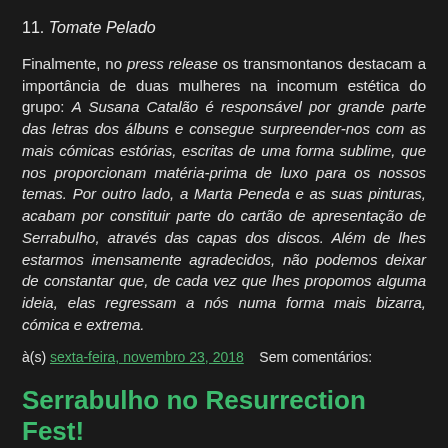11. Tomate Pelado
Finalmente, no press release os transmontanos destacam a importância de duas mulheres na incomum estética do grupo: A Susana Catalão é responsável por grande parte das letras dos álbuns e consegue surpreender-nos com as mais cómicas estórias, escritas de uma forma sublime, que nos proporcionam matéria-prima de luxo para os nossos temas. Por outro lado, a Marta Peneda e as suas pinturas, acabam por constituir parte do cartão de apresentação de Serrabulho, através das capas dos discos. Além de lhes estarmos imensamente agradecidos, não podemos deixar de constantar que, de cada vez que lhes propomos alguma ideia, elas regressam a nós numa forma mais bizarra, cómica e extrema.
à(s) sexta-feira, novembro 23, 2018    Sem comentários:
Serrabulho no Resurrection Fest!
Os Serrabulho acabam de ser confirmados no Resurrection